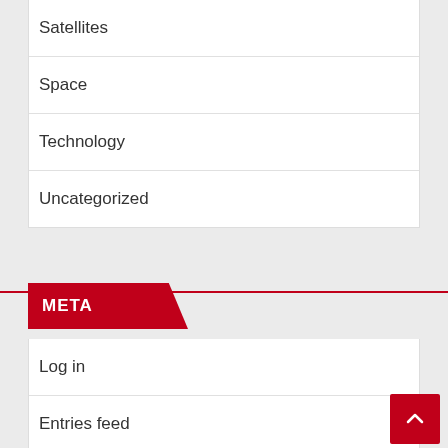Satellites
Space
Technology
Uncategorized
META
Log in
Entries feed
Comments feed